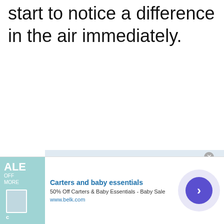start to notice a difference in the air immediately.
Though a dehumidifier
[Figure (other): Advertisement overlay: 'How to get rid of these plants' banner partially visible, with close buttons]
[Figure (other): Advertisement bar at bottom: Carters and baby essentials, 50% Off Carters & Baby Essentials - Baby Sale, www.belk.com, with ALE logo on left and arrow button on right]